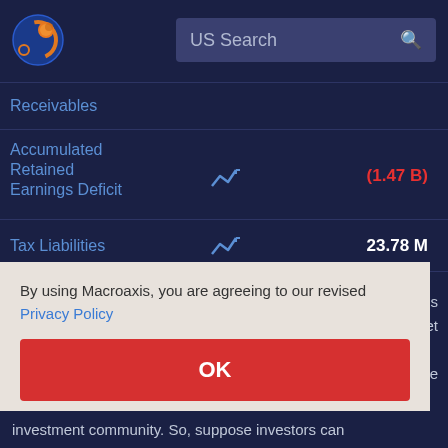[Figure (screenshot): Macroaxis website header with logo and US Search bar]
| Item |  | Value |
| --- | --- | --- |
| Receivables |  |  |
| Accumulated Retained Earnings Deficit |  | (1.47 B) |
| Tax Liabilities |  | 23.78 M |
By using Macroaxis, you are agreeing to our revised Privacy Policy
OK
arket's market to the
investment community. So, suppose investors can